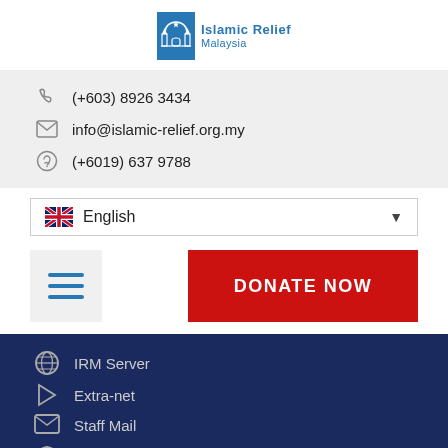[Figure (logo): Islamic Relief Malaysia logo — blue mosque icon with 'Islamic Relief Malaysia' text]
(+603) 8926 3434
info@islamic-relief.org.my
(+6019) 637 9788
🇬🇧 English ▼
DONATE NOW
IRM Server
Extra-net
Staff Mail
IR Digital